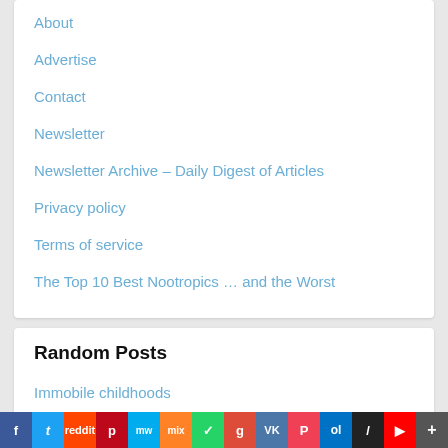About
Advertise
Contact
Newsletter
Newsletter Archive – Daily Digest of Articles
Privacy policy
Terms of service
The Top 10 Best Nootropics … and the Worst
Random Posts
Immobile childhoods
Cancer prevention: 6 Ways nature helps you fight cancer
f  t  reddit  p  mw  mix  WhatsApp  g  VK  P  Outlook  /  YouTube  More